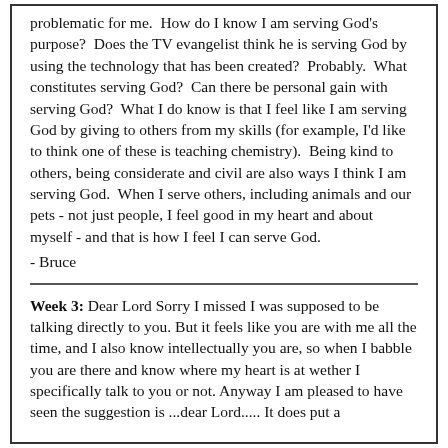problematic for me.  How do I know I am serving God's purpose?  Does the TV evangelist think he is serving God by using the technology that has been created?  Probably.  What constitutes serving God?  Can there be personal gain with serving God?  What I do know is that I feel like I am serving God by giving to others from my skills (for example, I'd like to think one of these is teaching chemistry).  Being kind to others, being considerate and civil are also ways I think I am serving God.  When I serve others, including animals and our pets - not just people, I feel good in my heart and about myself - and that is how I feel I can serve God.
- Bruce
Week 3: Dear Lord Sorry I missed I was supposed to be talking directly to you. But it feels like you are with me all the time, and I also know intellectually you are, so when I babble you are there and know where my heart is at wether I specifically talk to you or not. Anyway I am pleased to have seen the suggestion is ...dear Lord..... It does put a